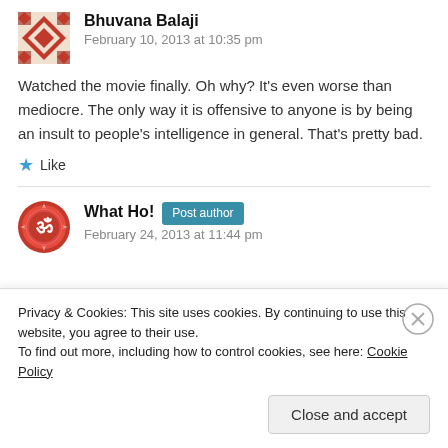Bhuvana Balaji
February 10, 2013 at 10:35 pm
Watched the movie finally. Oh why? It’s even worse than mediocre. The only way it is offensive to anyone is by being an insult to people’s intelligence in general. That’s pretty bad.
★ Like
What Ho! Post author
February 24, 2013 at 11:44 pm
Privacy & Cookies: This site uses cookies. By continuing to use this website, you agree to their use.
To find out more, including how to control cookies, see here: Cookie Policy
Close and accept